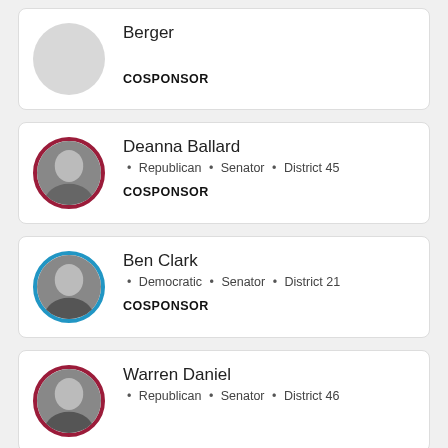Berger
COSPONSOR
Deanna Ballard
• Republican • Senator • District 45
COSPONSOR
Ben Clark
• Democratic • Senator • District 21
COSPONSOR
Warren Daniel
• Republican • Senator • District 46